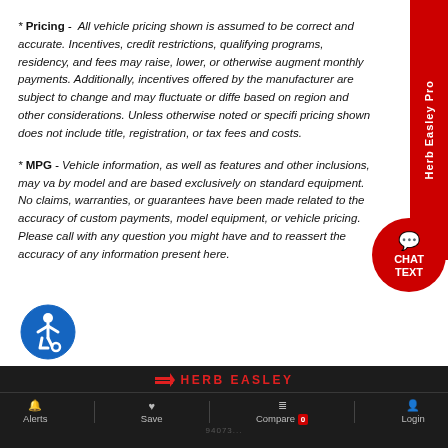* Pricing - All vehicle pricing shown is assumed to be correct and accurate. Incentives, credit restrictions, qualifying programs, residency, and fees may raise, lower, or otherwise augment monthly payments. Additionally, incentives offered by the manufacturer are subject to change and may fluctuate or differ based on region and other considerations. Unless otherwise noted or specified, pricing shown does not include title, registration, or tax fees and costs.
* MPG - Vehicle information, as well as features and other inclusions, may vary by model and are based exclusively on standard equipment. No claims, warranties, or guarantees have been made related to the accuracy of custom payments, model equipment, or vehicle pricing. Please call with any questions you might have and to reassert the accuracy of any information presented here.
[Figure (logo): Herb Easley dealership red sidebar with rotated text and red circular chat/text button]
[Figure (logo): Accessibility icon - blue circle with person in wheelchair symbol]
HERB EASLEY | Alerts | Save | Compare 0 | Login